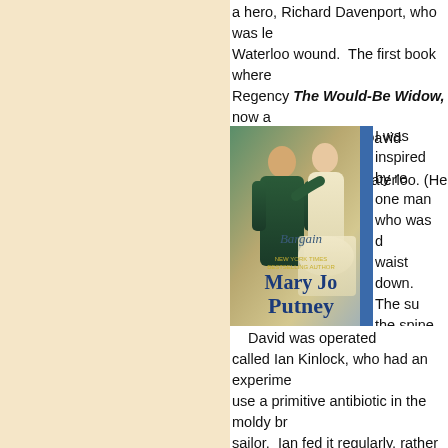a hero, Richard Davenport, who was left with a serious Waterloo wound. The first book where I used the Regency The Would-Be Widow, now av... Bargain. The hero, David Lancaster, wa... wounds suffered at Waterloo. (He and th... brother officers.)
[Figure (photo): Book cover of 'The Bargain' by Mary Jo Putney, New York Times Bestselling Author. Shows a couple embracing — a man in a green military uniform and a woman in a cream Regency dress. Blue vertical bar on the right edge.]
I was inspired by re... one man who was d... waist down. The su... the spine that had b... promptly got up and... added over-medica... appetite so he was... after his miraculous... to kick. It isn't easy...
David was operated... called Ian Kinlock, who had an experime... use a primitive antibiotic in the moldy bre... sailor. Ian fed it regularly, rather like yea... substance that reduced inflammation rat... of people who would keep a chunk of bre... they'd use a slice for poultices to treat we...